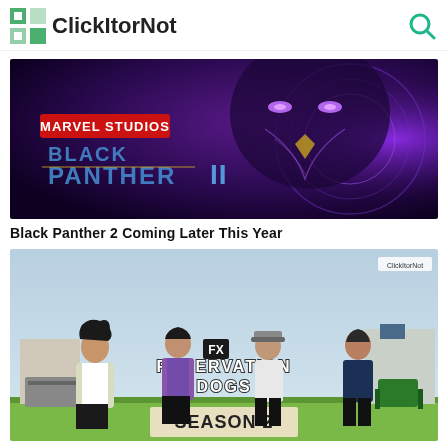ClickItorNot
[Figure (photo): Marvel Studios Black Panther II movie promotional image showing the Black Panther character in purple lighting with armor]
Black Panther 2 Coming Later This Year
[Figure (photo): FX Reservation Dogs Season 2 promotional image showing four young Native American teenagers sitting outdoors looking up, with the show title and season number displayed]